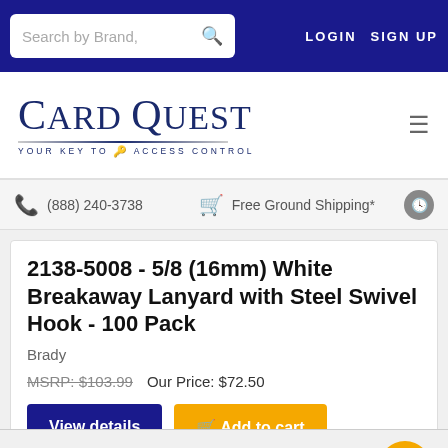Search by Brand,  LOGIN  SIGN UP
[Figure (logo): Card Quest logo with tagline YOUR KEY TO ACCESS CONTROL]
(888) 240-3738   Free Ground Shipping*
2138-5008 - 5/8 (16mm) White Breakaway Lanyard with Steel Swivel Hook - 100 Pack
Brady
MSRP: $103.99   Our Price: $72.50
View details  Add to cart